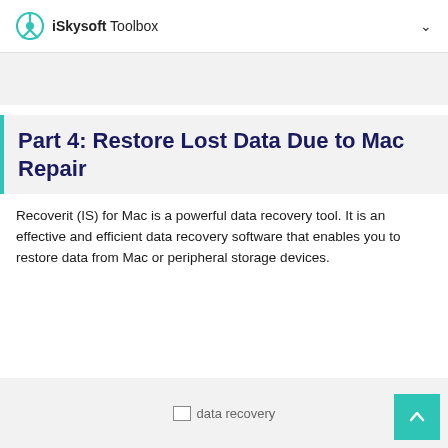iSkysoft Toolbox
[Figure (other): Gray banner area placeholder]
Part 4: Restore Lost Data Due to Mac Repair
Recoverit (IS) for Mac is a powerful data recovery tool. It is an effective and efficient data recovery software that enables you to restore data from Mac or peripheral storage devices.
[Figure (screenshot): data recovery image (broken image placeholder) at bottom of page with scroll-to-top button]